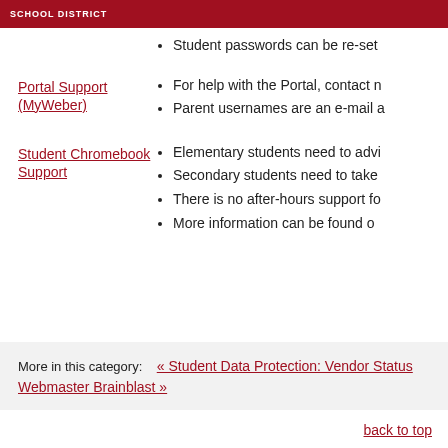WEBER SCHOOL DISTRICT
Student passwords can be re-set
Portal Support (MyWeber)
For help with the Portal, contact n
Parent usernames are an e-mail a
Student Chromebook Support
Elementary students need to advi
Secondary students need to take
There is no after-hours support fo
More information can be found o
More in this category:  « Student Data Protection: Vendor Status     Webmaster Brainblast »
back to top